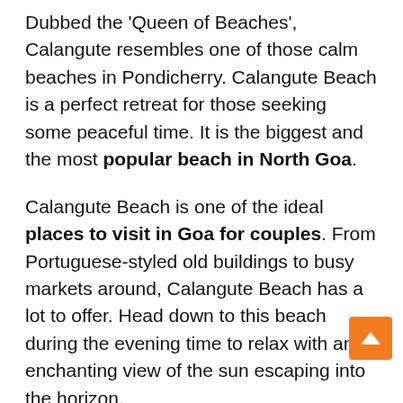Dubbed the 'Queen of Beaches', Calangute resembles one of those calm beaches in Pondicherry. Calangute Beach is a perfect retreat for those seeking some peaceful time. It is the biggest and the most popular beach in North Goa.
Calangute Beach is one of the ideal places to visit in Goa for couples. From Portuguese-styled old buildings to busy markets around, Calangute Beach has a lot to offer. Head down to this beach during the evening time to relax with an enchanting view of the sun escaping into the horizon.
Opening hours: 24 x 7